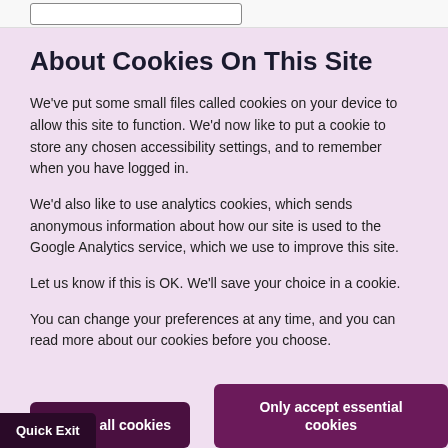About Cookies On This Site
We've put some small files called cookies on your device to allow this site to function. We'd now like to put a cookie to store any chosen accessibility settings, and to remember when you have logged in.
We'd also like to use analytics cookies, which sends anonymous information about how our site is used to the Google Analytics service, which we use to improve this site.
Let us know if this is OK. We'll save your choice in a cookie.
You can change your preferences at any time, and you can read more about our cookies before you choose.
Accept all cookies
Only accept essential cookies
Quick Exit